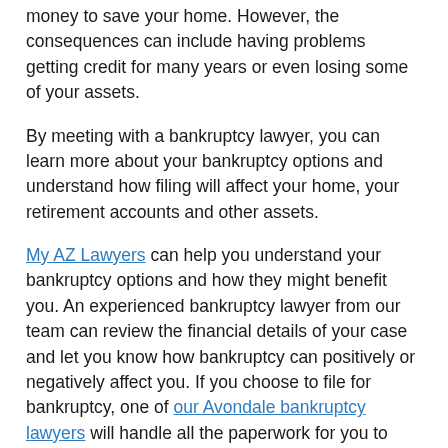money to save your home. However, the consequences can include having problems getting credit for many years or even losing some of your assets.
By meeting with a bankruptcy lawyer, you can learn more about your bankruptcy options and understand how filing will affect your home, your retirement accounts and other assets.
My AZ Lawyers can help you understand your bankruptcy options and how they might benefit you. An experienced bankruptcy lawyer from our team can review the financial details of your case and let you know how bankruptcy can positively or negatively affect you. If you choose to file for bankruptcy, one of our Avondale bankruptcy lawyers will handle all the paperwork for you to ensure that you follow proper legal protocol and get the full benefits of the filing. Call us today to schedule a consultation.
Published By: